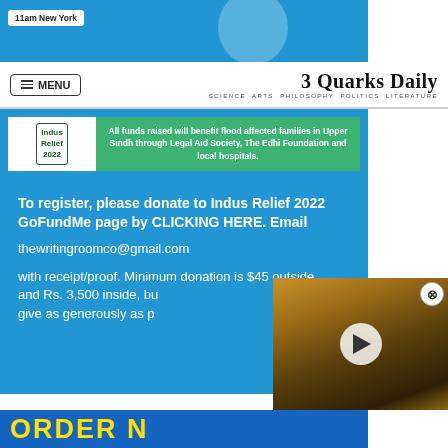[Figure (screenshot): Top banner showing blue background with '11am New York' text and a person's photo]
MENU | 3 Quarks Daily — SCIENCE ARTS PHILOSOPHY POLITICS LITERATURE
[Figure (screenshot): Blue banner with Indus Relief 2022 logo and green box stating: All funds raised will benefit flood affected families in Upper Sindh through Legal Aid Society, The Edhi Foundation and local hospitals.]
To register, please donate to Indus Relief 2022 GoFundMe page by CLICKING HERE. Email thewritingroomco@gmail.com with receipt/proof. Minimum donation is $45 outside and Rs. 3,500 inside, but give as generously as possible.
[Figure (screenshot): Video overlay showing Jupiter image with play button and close (X) button]
[Figure (screenshot): Bottom blue banner with yellow text ORDER N...]